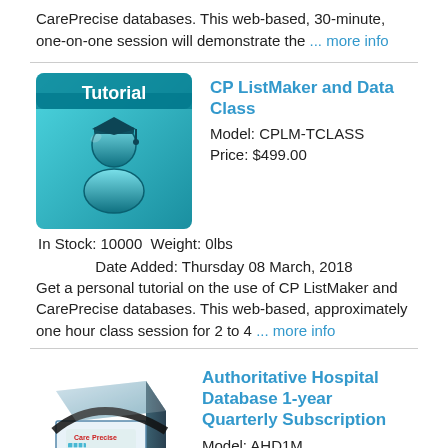CarePrecise databases. This web-based, 30-minute, one-on-one session will demonstrate the ... more info
[Figure (illustration): Tutorial icon with graduation cap figure on teal gradient background]
CP ListMaker and Data Class
Model: CPLM-TCLASS
Price: $499.00
In Stock: 10000  Weight: 0lbs
Date Added: Thursday 08 March, 2018
Get a personal tutorial on the use of CP ListMaker and CarePrecise databases. This web-based, approximately one hour class session for 2 to 4 ... more info
[Figure (illustration): CarePrecise Authoritative Hospital Database product box image]
Authoritative Hospital Database 1-year Quarterly Subscription
Model: AHD1M
Price: $2,113.00